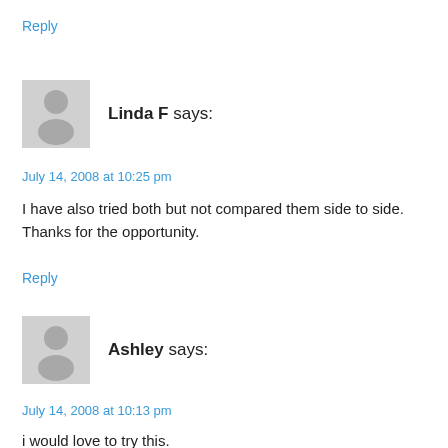Reply
Linda F says:
July 14, 2008 at 10:25 pm
I have also tried both but not compared them side to side. Thanks for the opportunity.
Reply
Ashley says:
July 14, 2008 at 10:13 pm
i would love to try this.